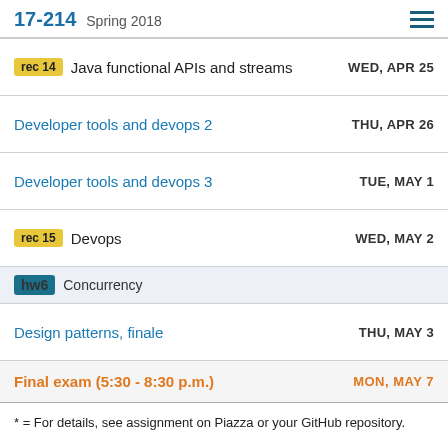17-214  Spring 2018
rec 14  Java functional APIs and streams  WED, APR 25
Developer tools and devops 2  THU, APR 26
Developer tools and devops 3  TUE, MAY 1
rec 15  Devops  WED, MAY 2
hw6  Concurrency
Design patterns, finale  THU, MAY 3
Final exam (5:30 - 8:30 p.m.)  MON, MAY 7
* = For details, see assignment on Piazza or your GitHub repository.